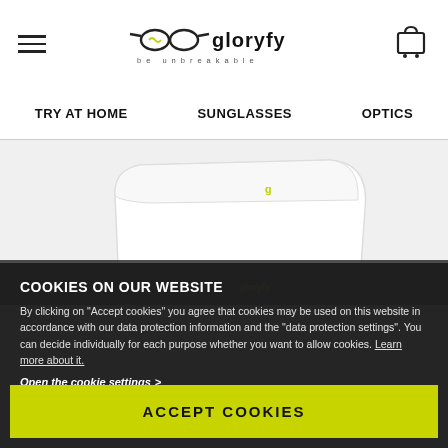gloryfy — be unbreakable
TRY AT HOME   SUNGLASSES   OPTICS
[Figure (photo): White gloryfy eyewear glasses case shown from above at an angle, with a person holding glasses below, against a light background.]
COOKIES ON OUR WEBSITE
By clicking on "Accept cookies" you agree that cookies may be used on this website in accordance with our data protection information and the "data protection settings". You can decide individually for each purpose whether you want to allow cookies. Learn more about it.
Open the cookie settings >
ACCEPT COOKIES